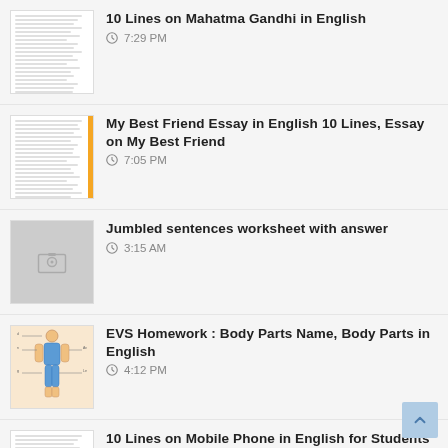10 Lines on Mahatma Gandhi in English
My Best Friend Essay in English 10 Lines, Essay on My Best Friend
Jumbled sentences worksheet with answer
EVS Homework : Body Parts Name, Body Parts in English
10 Lines on Mobile Phone in English for Students and Children